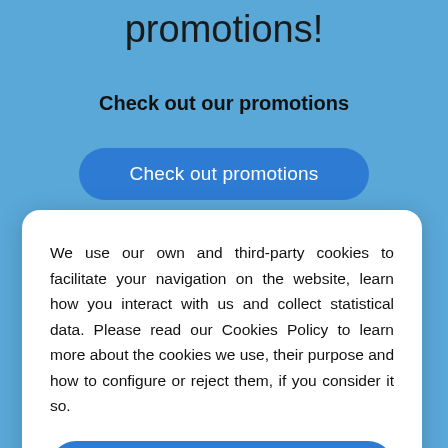promotions!
Check out our promotions
Check out promotions
We use our own and third-party cookies to facilitate your navigation on the website, learn how you interact with us and collect statistical data. Please read our Cookies Policy to learn more about the cookies we use, their purpose and how to configure or reject them, if you consider it so.
Accept all
Manage Cookies
Reject